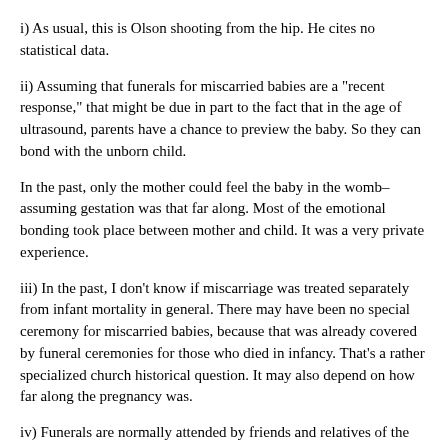i) As usual, this is Olson shooting from the hip. He cites no statistical data.
ii) Assuming that funerals for miscarried babies are a "recent response," that might be due in part to the fact that in the age of ultrasound, parents have a chance to preview the baby. So they can bond with the unborn child.
In the past, only the mother could feel the baby in the womb–assuming gestation was that far along. Most of the emotional bonding took place between mother and child. It was a very private experience.
iii) In the past, I don't know if miscarriage was treated separately from infant mortality in general. There may have been no special ceremony for miscarried babies, because that was already covered by funeral ceremonies for those who died in infancy. That's a rather specialized church historical question. It may also depend on how far along the pregnancy was.
iv) Funerals are normally attended by friends and relatives of the decedent. Ideally, the pastor knew the decedent, and can weave some personal anecdotes into the eulogy or sermon. Sometimes friends and relatives are invited to share personal anecdotes. Obviously, the situation is very different for a miscarried baby.
v) I think it would be good for the church to have ceremonies in case of miscarriage.
vi) Since Olson is attacking "extremists" on both sides of the issue, he evidently